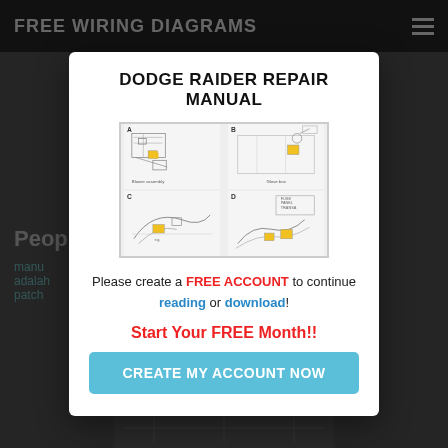FREE WIRING DIAGRAMS
dete... Your current... als and low pri... Browse & disco... nd find
dodge r... e repair manu... raider spe... sale
Peop...
manu...
alah...
patch...
DODGE RAIDER REPAIR MANUAL
[Figure (schematic): Four-panel technical diagram (A, B, C, D) showing under-hood components with yellow highlighted parts, labeled Blower assembly and Glove box]
Please create a FREE ACCOUNT to continue reading or download!
Start Your FREE Month!!
CREATE MY ACCOUNT NOW